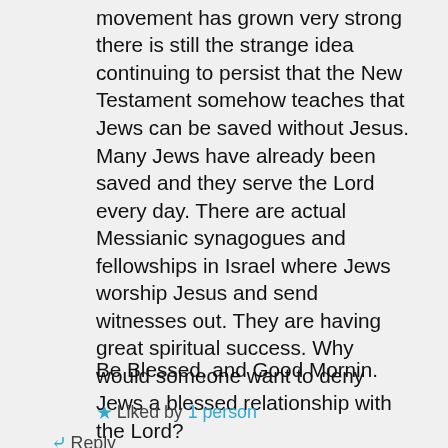movement has grown very strong there is still the strange idea continuing to persist that the New Testament somehow teaches that Jews can be saved without Jesus. Many Jews have already been saved and they serve the Lord every day. There are actual Messianic synagogues and fellowships in Israel where Jews worship Jesus and send witnesses out. They are having great spiritual success. Why would someone want to deny Jews a blessed relationship with the Lord?
Be Blessed, and Good Mornin.
Liked by 1 person
Reply